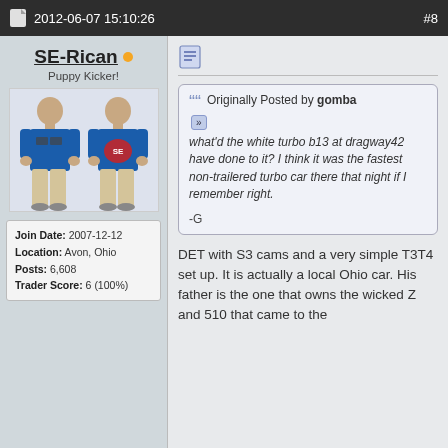2012-06-07 15:10:26   #8
SE-Rican
Puppy Kicker!
[Figure (photo): User avatar showing two views of a person wearing a blue t-shirt]
Join Date: 2007-12-12
Location: Avon, Ohio
Posts: 6,608
Trader Score: 6 (100%)
Originally Posted by gomba
what'd the white turbo b13 at dragway42 have done to it? I think it was the fastest non-trailered turbo car there that night if I remember right.

-G
DET with S3 cams and a very simple T3T4 set up. It is actually a local Ohio car. His father is the one that owns the wicked Z and 510 that came to the